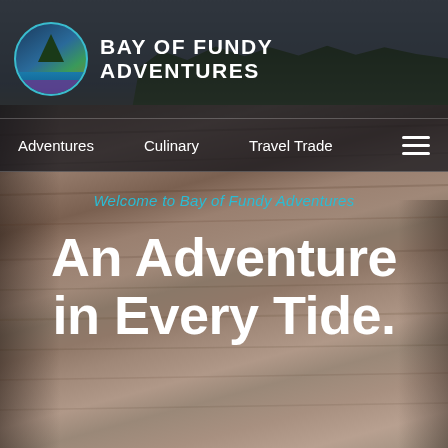[Figure (photo): Background photo of layered sandstone cliff face with green trees at the top and cloudy sky, Bay of Fundy coastal scenery]
BAY OF FUNDY ADVENTURES
Adventures   Culinary   Travel Trade
Welcome to Bay of Fundy Adventures
An Adventure in Every Tide.